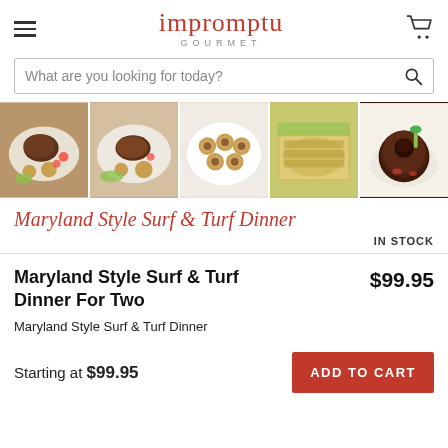impromptu GOURMET
What are you looking for today?
[Figure (photo): Five food images in a horizontal strip showing surf and turf dinner items]
Maryland Style Surf & Turf Dinner
IN STOCK
Maryland Style Surf & Turf Dinner For Two   $99.95
Maryland Style Surf & Turf Dinner
Starting at $99.95
ADD TO CART